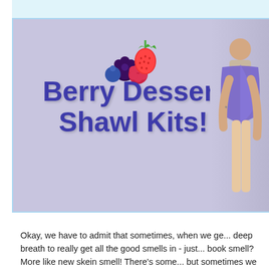[Figure (photo): Banner image with a lavender/purple background showing a berry emoji cluster (strawberry, blackberry, blueberry) at the top center, large bold text reading 'Berry Dessert Shawl Kits!' in dark purple/indigo, and a partial view of a person wearing a purple knitted shawl on the right side.]
Okay, we have to admit that sometimes, when we ge... deep breath to really get all the good smells in - just ... book smell? More like new skein smell! There's some... but sometimes we wish it smelled a little sweeter - m...